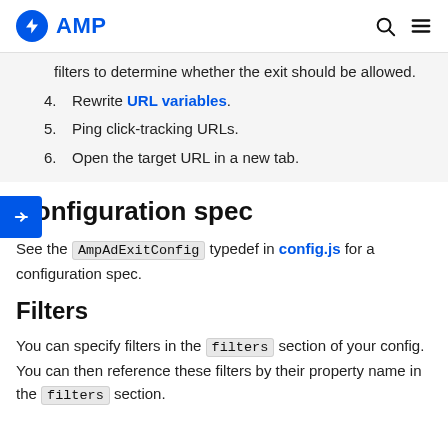AMP
filters to determine whether the exit should be allowed.
4. Rewrite URL variables.
5. Ping click-tracking URLs.
6. Open the target URL in a new tab.
Configuration spec
See the AmpAdExitConfig typedef in config.js for a configuration spec.
Filters
You can specify filters in the filters section of your config. You can then reference these filters by their property name in the filters section.